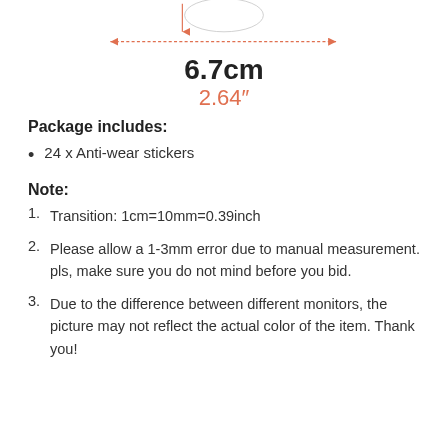[Figure (engineering-diagram): Dimension diagram showing a circular sticker with a horizontal measurement arrow spanning 6.7cm (2.64 inches) and a vertical arrow indicating height, with an orange dashed double-headed arrow below showing the full width measurement.]
6.7cm
2.64"
Package includes:
24 x Anti-wear stickers
Note:
1. Transition: 1cm=10mm=0.39inch
2. Please allow a 1-3mm error due to manual measurement. pls, make sure you do not mind before you bid.
3. Due to the difference between different monitors, the picture may not reflect the actual color of the item. Thank you!